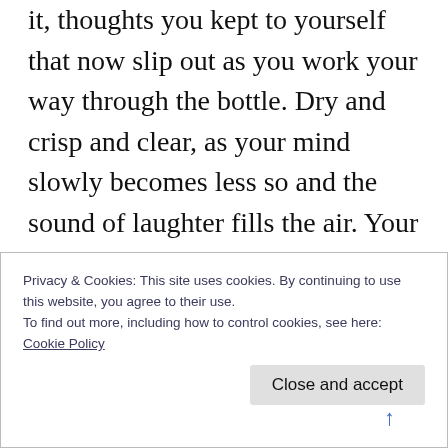it, thoughts you kept to yourself that now slip out as you work your way through the bottle. Dry and crisp and clear, as your mind slowly becomes less so and the sound of laughter fills the air. Your eyes take on that familiar sparkle, it's the flirting, the cheekiness of the unknown evening.

Outside there's a soft breeze, a chill but the heat of the day still lingers in the air so you're not cold, maybe that's the wine though. You
Privacy & Cookies: This site uses cookies. By continuing to use this website, you agree to their use.
To find out more, including how to control cookies, see here: Cookie Policy
Close and accept